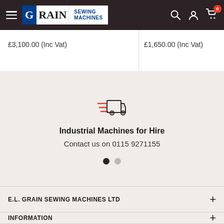GRAIN SEWING MACHINES
£3,100.00 (Inc Vat)
£1,650.00 (Inc Vat)
[Figure (illustration): Delivery truck icon with speed lines]
Industrial Machines for Hire
Contact us on 0115 9271155
E.L. GRAIN SEWING MACHINES LTD
INFORMATION